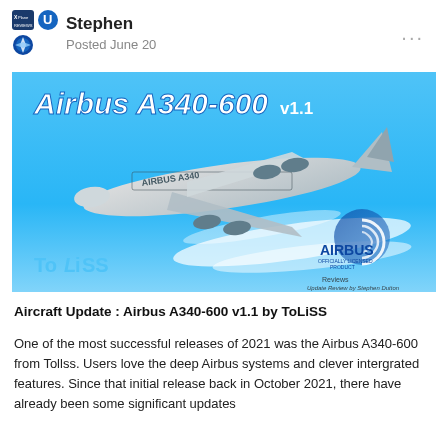Stephen
Posted June 20
[Figure (photo): Airbus A340-600 v1.1 promotional banner image showing an Airbus A340-600 aircraft in Airbus house livery flying against a blue sky, with ToLiSS and Airbus Officially Licensed Product logos, and 'Update Review by Stephen Dutton' text.]
Aircraft Update : Airbus A340-600 v1.1 by ToLiSS
One of the most successful releases of 2021 was the Airbus A340-600 from Tollss. Users love the deep Airbus systems and clever intergrated features. Since that initial release back in October 2021, there have already been some significant updates